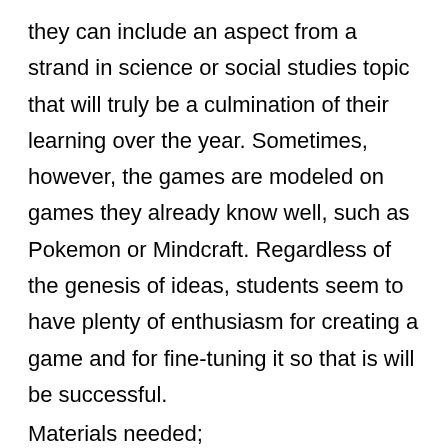they can include an aspect from a strand in science or social studies topic that will truly be a culmination of their learning over the year. Sometimes, however, the games are modeled on games they already know well, such as Pokemon or Mindcraft. Regardless of the genesis of ideas, students seem to have plenty of enthusiasm for creating a game and for fine-tuning it so that is will be successful.
Materials needed;
• Scrap paper for rough copies
• 1 sheet of legal-sized paper, car stock or poster board per person/group for final copy